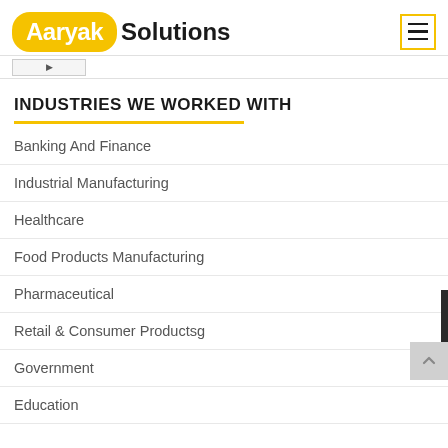Aaryak Solutions
INDUSTRIES WE WORKED WITH
Banking And Finance
Industrial Manufacturing
Healthcare
Food Products Manufacturing
Pharmaceutical
Retail & Consumer Productsg
Government
Education